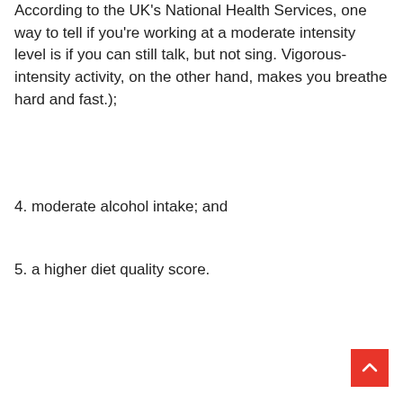According to the UK's National Health Services, one way to tell if you're working at a moderate intensity level is if you can still talk, but not sing. Vigorous-intensity activity, on the other hand, makes you breathe hard and fast.);
4. moderate alcohol intake; and
5. a higher diet quality score.